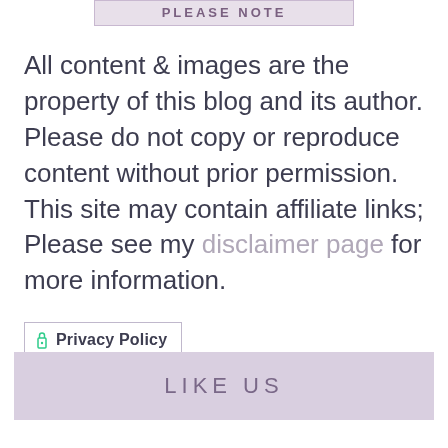[Figure (other): A banner/header bar with text 'PLEASE NOTE' in bold spaced letters on a light lavender background with border, partially cropped at top]
All content & images are the property of this blog and its author. Please do not copy or reproduce content without prior permission. This site may contain affiliate links; Please see my disclaimer page for more information.
Privacy Policy
Scrapbook Blog 2011-2022
LIKE US